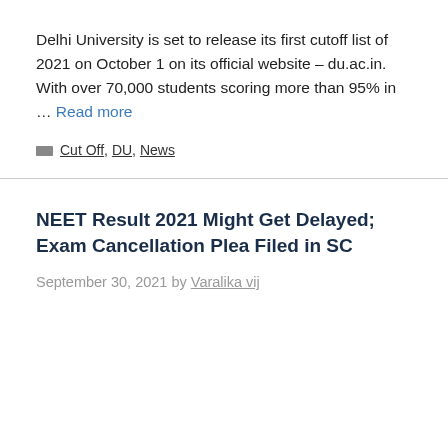Delhi University is set to release its first cutoff list of 2021 on October 1 on its official website – du.ac.in. With over 70,000 students scoring more than 95% in … Read more
Cut Off, DU, News
NEET Result 2021 Might Get Delayed; Exam Cancellation Plea Filed in SC
September 30, 2021 by Varalika vij